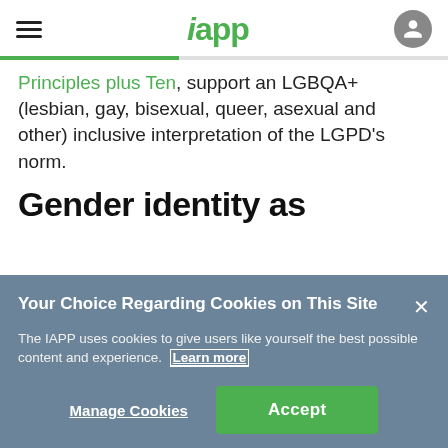iapp
Principles plus Ten, support an LGBQA+ (lesbian, gay, bisexual, queer, asexual and other) inclusive interpretation of the LGPD's norm.
Gender identity as
Your Choice Regarding Cookies on This Site
The IAPP uses cookies to give users like yourself the best possible content and experience. Learn more
Manage Cookies
Accept